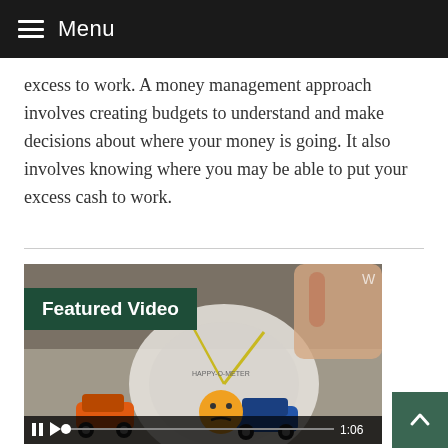Menu
excess to work. A money management approach involves creating budgets to understand and make decisions about where your money is going. It also involves knowing where you may be able to put your excess cash to work.
[Figure (screenshot): Featured Video thumbnail showing a 'Happy-O-Meter' dial with animated car graphics and an emoji, with a video progress bar showing 1:06 timestamp. A green 'Featured Video' label overlaid at top-left.]